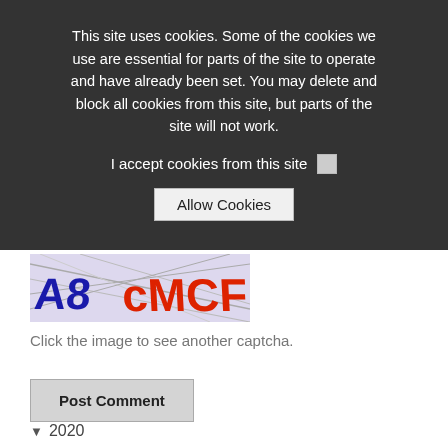This site uses cookies. Some of the cookies we use are essential for parts of the site to operate and have already been set. You may delete and block all cookies from this site, but parts of the site will not work.
I accept cookies from this site
Allow Cookies
Please type the letters and numbers shown in the image.
[Figure (other): CAPTCHA image showing distorted text 'A8 CMCF' in red and blue letters on light purple background with diagonal lines]
Click the image to see another captcha.
Post Comment
2020